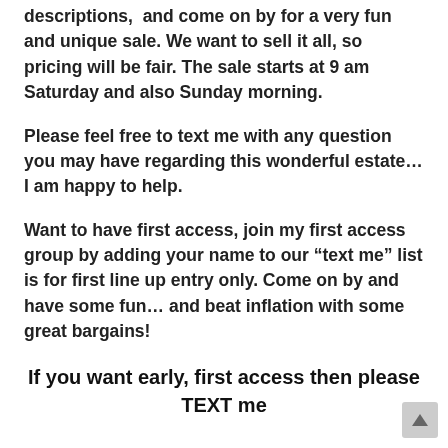descriptions,  and come on by for a very fun and unique sale. We want to sell it all, so pricing will be fair. The sale starts at 9 am Saturday and also Sunday morning.
Please feel free to text me with any question you may have regarding this wonderful estate…I am happy to help.
Want to have first access, join my first access group by adding your name to our “text me” list is for first line up entry only. Come on by and have some fun… and beat inflation with some great bargains!
If you want early, first access then please TEXT me